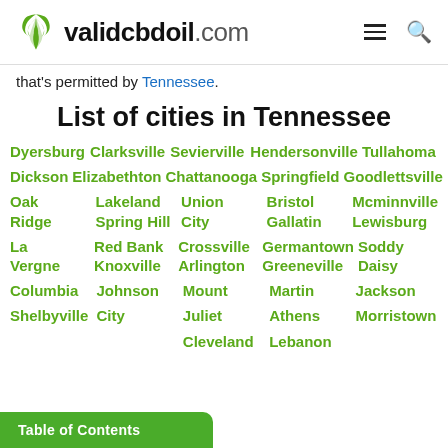validcbdoil.com
that's permitted by Tennessee.
List of cities in Tennessee
Dyersburg
Clarksville
Sevierville
Hendersonville
Tullahoma
Dickson
Elizabethton
Chattanooga
Springfield
Goodlettsville
Oak Ridge
Lakeland
Union City
Bristol
Mcminnville
La Vergne
Spring Hill
Crossville
Germantown
Soddy Daisy
Columbia
Knoxville
Arlington
Greeneville
Gallatin
Lewisburg
Johnson City
Mount Juliet
Martin
Jackson
Shelbyville
City
Athens
Morristown
Cleveland
Lebanon
Table of Contents